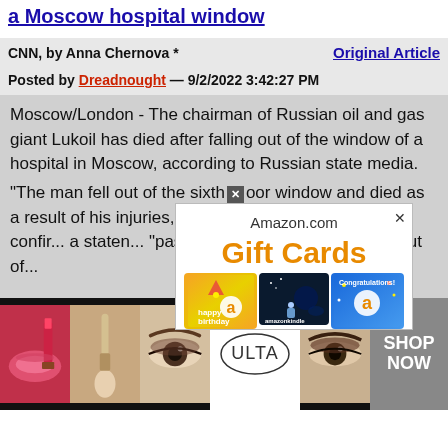a Moscow hospital window
CNN, by Anna Chernova *    Original Article
Posted by Dreadnought — 9/2/2022 3:42:27 PM
Moscow/London - The chairman of Russian oil and gas giant Lukoil has died after falling out of the window of a hospital in Moscow, according to Russian state media. "The man fell out of the sixth floor window and died as a result of his injuries," a source told TASS. Lukoil confirmed ... a statement ... "passed ... d, making ... contributions ... any, but of ...
[Figure (screenshot): Amazon.com Gift Cards popup advertisement overlaying article text, showing three gift card images: happy birthday, amazonkindle, and Congratulations cards]
[Figure (screenshot): Ulta Beauty advertisement banner at bottom showing cosmetics/makeup imagery with SHOP NOW text]